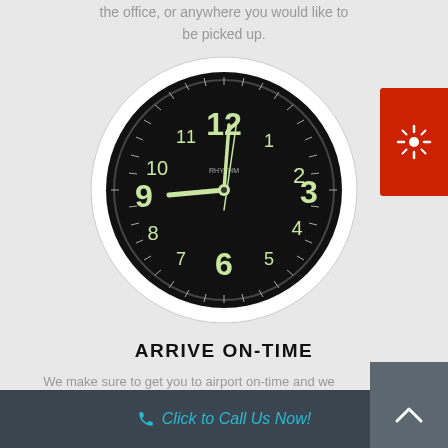the office, or anywhere you would like to be picked up.
[Figure (photo): A wall clock with a black face and glow-in-the-dark numerals (12, 3, 6, 9 prominent), white outer ring, with clock hands showing approximately 9:00. The clock face has a double ring of minute/second markers.]
ARRIVE ON-TIME
We make sure to get you to airport on-time and we even help with the bags.
Click to Call Us Now!